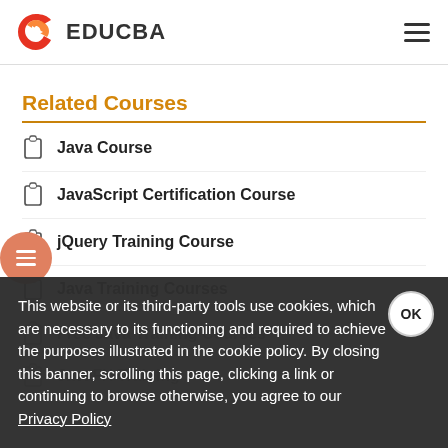EDUCBA
Related Courses
Java Course
JavaScript Certification Course
jQuery Training Course
Java Training Courses
Free Java Training Courses
JavaFX Training
This website or its third-party tools use cookies, which are necessary to its functioning and required to achieve the purposes illustrated in the cookie policy. By closing this banner, scrolling this page, clicking a link or continuing to browse otherwise, you agree to our Privacy Policy